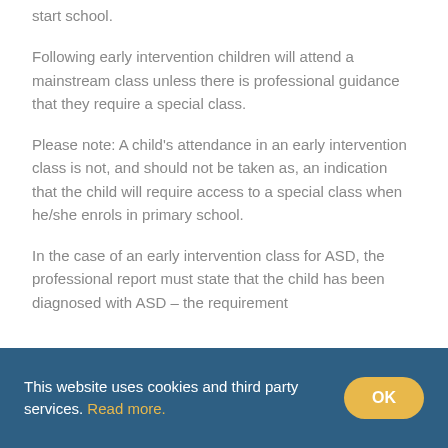start school.
Following early intervention children will attend a mainstream class unless there is professional guidance that they require a special class.
Please note: A child's attendance in an early intervention class is not, and should not be taken as, an indication that the child will require access to a special class when he/she enrols in primary school.
In the case of an early intervention class for ASD, the professional report must state that the child has been diagnosed with ASD – the requirement
This website uses cookies and third party services. Read more.